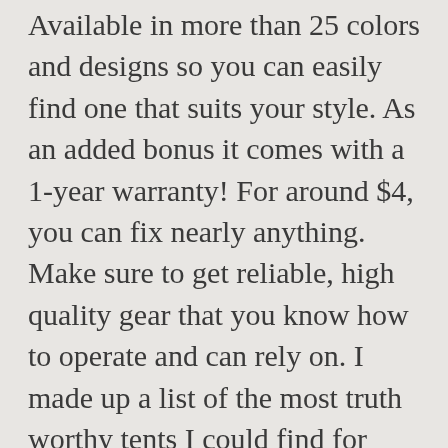Available in more than 25 colors and designs so you can easily find one that suits your style. As an added bonus it comes with a 1-year warranty! For around $4, you can fix nearly anything. Make sure to get reliable, high quality gear that you know how to operate and can rely on. I made up a list of the most truth worthy tents I could find for you. All you have to do is avoid the following rookie mistakes and you'll be fine: Mistake 1: Not testing your gear. The last thing you want is a tent that leaks or a sleeping bag that fails to keep out the cold! No major flaws, but a handful of reviewers wish it had a bottle opener. Two insulated 10-ounce cups have plenty of room for soup, oatmeal, or